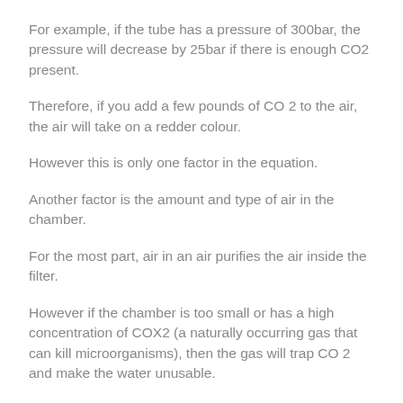For example, if the tube has a pressure of 300bar, the pressure will decrease by 25bar if there is enough CO2 present.
Therefore, if you add a few pounds of CO 2 to the air, the air will take on a redder colour.
However this is only one factor in the equation.
Another factor is the amount and type of air in the chamber.
For the most part, air in an air purifies the air inside the filter.
However if the chamber is too small or has a high concentration of COX2 (a naturally occurring gas that can kill microorganisms), then the gas will trap CO 2 and make the water unusable.